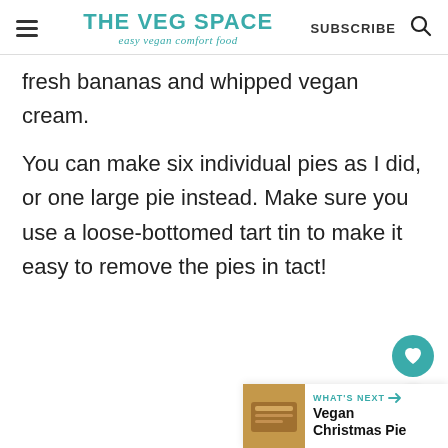THE VEG SPACE easy vegan comfort food | SUBSCRIBE
fresh bananas and whipped vegan cream.
You can make six individual pies as I did, or one large pie instead. Make sure you use a loose-bottomed tart tin to make it easy to remove the pies in tact!
[Figure (other): Teal heart favourite button (circular FAB)]
[Figure (other): Share button (circular FAB with share icon)]
[Figure (other): What's Next panel showing Vegan Christmas Pie with thumbnail image]